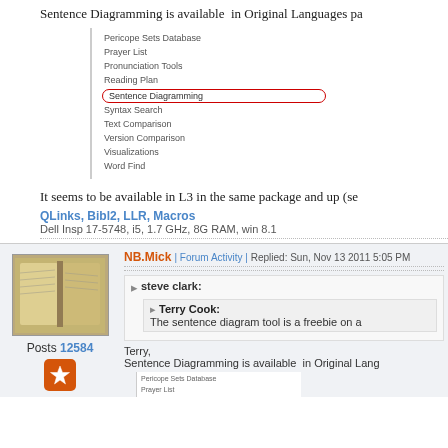Sentence Diagramming is available  in Original Languages pa
[Figure (screenshot): Screenshot of a menu list showing: Pericope Sets Database, Prayer List, Pronunciation Tools, Reading Plan, Sentence Diagramming (highlighted with red border), Syntax Search, Text Comparison, Version Comparison, Visualizations, Word Find]
It seems to be available in L3 in the same package and up (se
QLinks, Bibl2, LLR, Macros
Dell Insp 17-5748, i5, 1.7 GHz, 8G RAM, win 8.1
NB.Mick | Forum Activity | Replied: Sun, Nov 13 2011 5:05 PM
steve clark:
  Terry Cook:
  The sentence diagram tool is a freebie on a
Terry,
Sentence Diagramming is available  in Original Lang
Pericope Sets Database
Prayer List